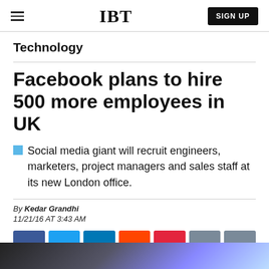IBT | SIGN UP
Technology
Facebook plans to hire 500 more employees in UK
Social media giant will recruit engineers, marketers, project managers and sales staff at its new London office.
By Kedar Grandhi
11/21/16 AT 3:43 AM